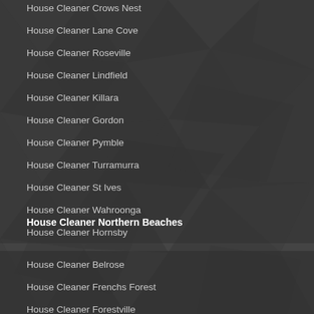House Cleaner Crows Nest
House Cleaner Lane Cove
House Cleaner Roseville
House Cleaner Lindfield
House Cleaner Killara
House Cleaner Gordon
House Cleaner Pymble
House Cleaner Turramurra
House Cleaner St Ives
House Cleaner Wahroonga
House Cleaner Hornsby
House Cleaner Northern Beaches
House Cleaner Belrose
House Cleaner Frenchs Forest
House Cleaner Forestville